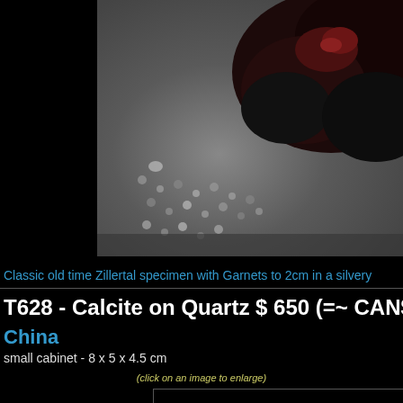[Figure (photo): Close-up photograph of a rock mineral specimen showing dark reddish-brown garnets on a silvery-grey matrix with granular texture. Black border on left side.]
Classic old time Zillertal specimen with Garnets to 2cm in a silvery
T628 - Calcite on Quartz $ 650 (=~ CAN$ 83...
China
small cabinet - 8 x 5 x 4.5 cm
(click on an image to enlarge)